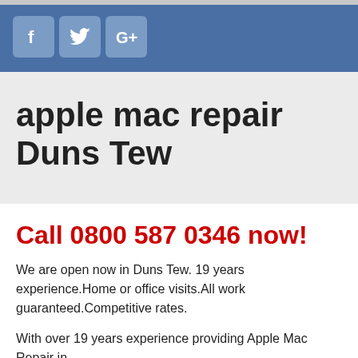[Figure (logo): Social media icons: Facebook, Twitter, Google+ on blue banner header]
apple mac repair Duns Tew
Call 0800 587 0346 now!
We are open now in Duns Tew. 19 years experience.Home or office visits.All work guaranteed.Competitive rates.
With over 19 years experience providing Apple Mac Repair in